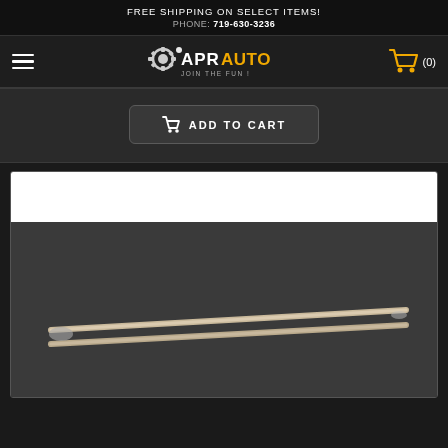FREE SHIPPING ON SELECT ITEMS!
PHONE: 719-630-3236
[Figure (logo): APR AUTO logo with gear icon and tagline 'JOIN THE FUN !']
[Figure (other): Shopping cart icon with (0) count]
ADD TO CART
[Figure (photo): Product photo showing two metal rods/push rods on a dark gray background]